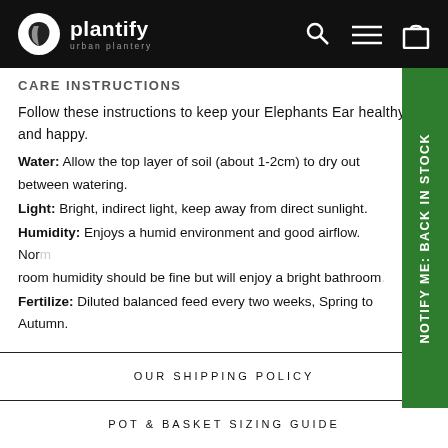plantify urban plantery
CARE INSTRUCTIONS
Follow these instructions to keep your Elephants Ear healthy and happy.
Water: Allow the top layer of soil (about 1-2cm) to dry out between watering. Light: Bright, indirect light, keep away from direct sunlight. Humidity: Enjoys a humid environment and good airflow. Normal room humidity should be fine but will enjoy a bright bathroom. Fertilize: Diluted balanced feed every two weeks, Spring to Autumn.
NOTIFY ME: Back in Stock
OUR SHIPPING POLICY
POT & BASKET SIZING GUIDE
GOT A QUESTION?